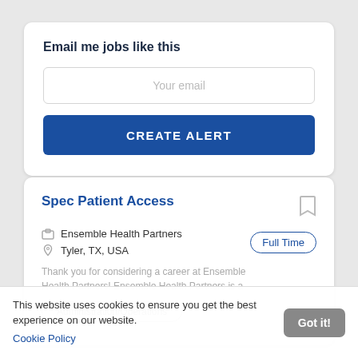Email me jobs like this
Your email
CREATE ALERT
Spec Patient Access
Ensemble Health Partners
Tyler, TX, USA
Full Time
Thank you for considering a career at Ensemble Health Partners! Ensemble Health Partners is a
Administration/Operations
This website uses cookies to ensure you get the best experience on our website.
Cookie Policy
Got it!